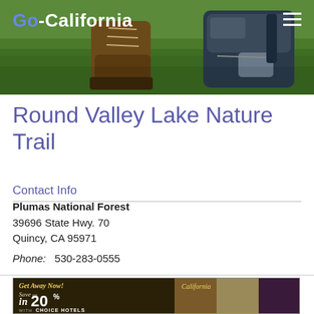[Figure (photo): Go-California website header with outdoor photo showing hiking boots and backpack on grass, with site logo 'Go-California' on the left and hamburger menu icon on the right]
Round Valley Lake Nature Trail
Contact Info
Plumas National Forest
39696 State Hwy. 70
Quincy, CA 95971
Phone: 530-283-0555
[Figure (photo): Advertisement banner: 'Get Away Now! Save up to 20% with Choice Hotels. California.']